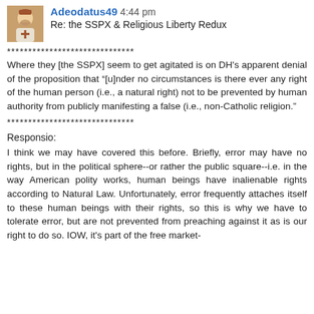Adeodatus49 4:44 pm
Re: the SSPX & Religious Liberty Redux
******************************
Where they [the SSPX] seem to get agitated is on DH's apparent denial of the proposition that "[u]nder no circumstances is there ever any right of the human person (i.e., a natural right) not to be prevented by human authority from publicly manifesting a false (i.e., non-Catholic religion."
******************************
Responsio:
I think we may have covered this before. Briefly, error may have no rights, but in the political sphere--or rather the public square--i.e. in the way American polity works, human beings have inalienable rights according to Natural Law. Unfortunately, error frequently attaches itself to these human beings with their rights, so this is why we have to tolerate error, but are not prevented from preaching against it as is our right to do so. IOW, it's part of the free market-